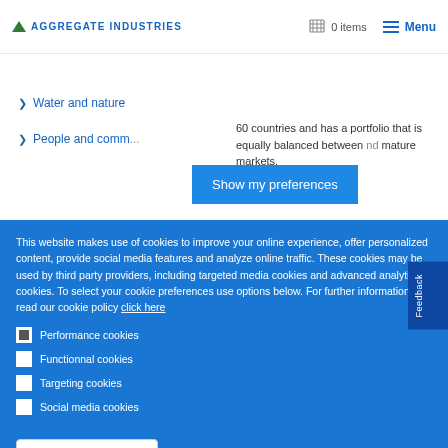AGGREGATE INDUSTRIES | 0 items | Menu
Water and nature
People and comm...
60 countries and has a portfolio that is equally balanced between nd mature markets.
Show my preferences
This website makes use of cookies to improve your online experience, offer personalized content, provide social media features and analyze online traffic. These cookies may be used by third party providers, including targeted media cookies and advanced analytics cookies. To select your cookie preferences use options below. For further information, read our cookie policy click here
Performance cookies (checked)
Functionnal cookies
Targeting cookies
Social media cookies
Save my preferences
Accept all cookies
Feedback